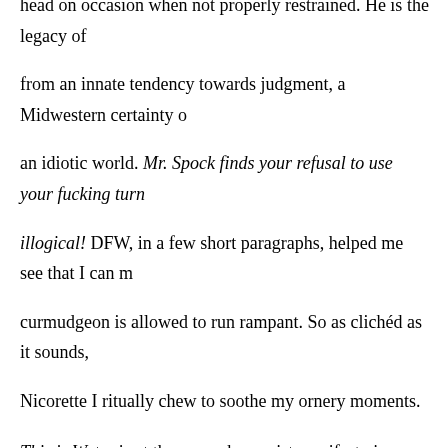head on occasion when not properly restrained. He is the legacy of from an innate tendency towards judgment, a Midwestern certainty o an idiotic world. Mr. Spock finds your refusal to use your fucking turn illogical! DFW, in a few short paragraphs, helped me see that I can curmudgeon is allowed to run rampant. So as clichéd as it sounds, Nicorette I ritually chew to soothe my ornery moments.
This is Water is at the core a humanist manifesto in speech form, a certainly not alone in this) was in danger of being submerged by an inability to just be where you are, consciously connected to the real. tangible moment, he asks not for sainthood – he acknowledges our we try to get out of our own headspace every once in a while, that w empathy, that we acknowledge that our "natural, hard-wired default s and to see and interpret everything through this lens of self." Our na its own legion of clichés: Get out of your head. Stop navel-gazing. S baby-step towards becoming better human beings – to be aware tha interpret what happens to us is a choice. That we do, in fact, have th